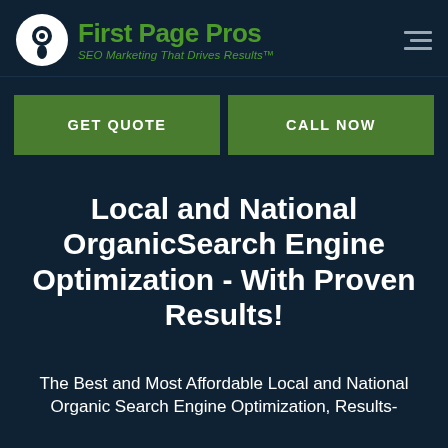[Figure (logo): First Page Pros logo with map pin icon and green text reading 'First Page Pros' with tagline 'SEO Marketing That Drives Results™']
GET QUOTE
CALL NOW
Local and National OrganicSearch Engine Optimization - With Proven Results!
The Best and Most Affordable Local and National Organic Search Engine Optimization, Results-